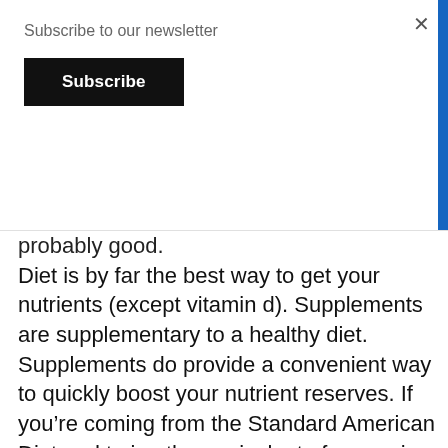Subscribe to our newsletter
Subscribe
probably good.
Diet is by far the best way to get your nutrients (except vitamin d). Supplements are supplementary to a healthy diet. Supplements do provide a convenient way to quickly boost your nutrient reserves. If you’re coming from the Standard American Diet and trying the equivalent of cramming the night before the test – this part is for you.
From SAD to Immune Optimization In Two Weeks (or less) *Dosing for Adults